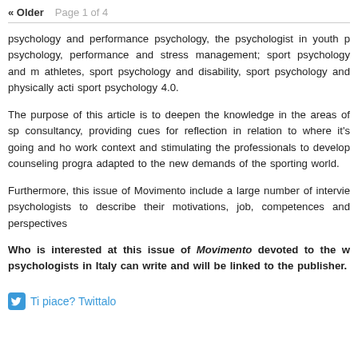« Older   Page 1 of 4
psychology and performance psychology, the psychologist in youth p psychology, performance and stress management; sport psychology and m athletes, sport psychology and disability, sport psychology and physically acti sport psychology 4.0.
The purpose of this article is to deepen the knowledge in the areas of sp consultancy, providing cues for reflection in relation to where it's going and ho work context and stimulating the professionals to develop counseling progra adapted to the new demands of the sporting world.
Furthermore, this issue of Movimento include a large number of intervie psychologists to describe their motivations, job, competences and perspectives
Who is interested at this issue of Movimento devoted to the w psychologists in Italy can write and will be linked to the publisher.
Ti piace? Twittalo